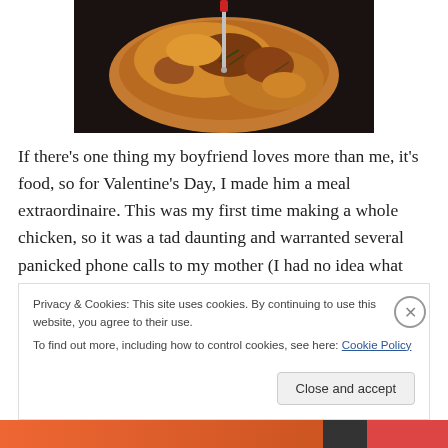[Figure (photo): Close-up photo of a roasted whole chicken with a meat thermometer inserted into it. The chicken appears golden-brown with herbs, shot from above on a dark pan.]
If there's one thing my boyfriend loves more than me, it's food, so for Valentine's Day, I made him a meal extraordinaire. This was my first time making a whole chicken, so it was a tad daunting and warranted several panicked phone calls to my mother (I had no idea what
Privacy & Cookies: This site uses cookies. By continuing to use this website, you agree to their use.
To find out more, including how to control cookies, see here: Cookie Policy